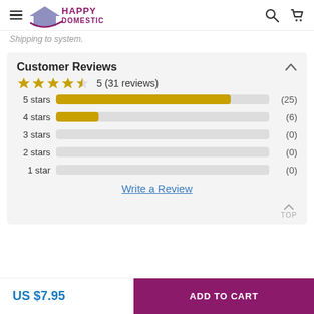Happy Domestic
Shipping to system.
Customer Reviews
★★★★½ 5 (31 reviews)
[Figure (bar-chart): Customer Reviews Rating Breakdown]
Write a Review
US $7.95
ADD TO CART